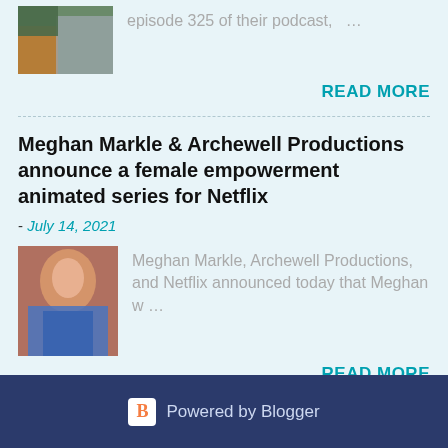episode 325 of their podcast, …
READ MORE
Meghan Markle & Archewell Productions announce a female empowerment animated series for Netflix
- July 14, 2021
[Figure (photo): Photo of a woman in a blue shirt smiling with hands together]
Meghan Markle, Archewell Productions, and Netflix announced today that Meghan w …
READ MORE
Powered by Blogger